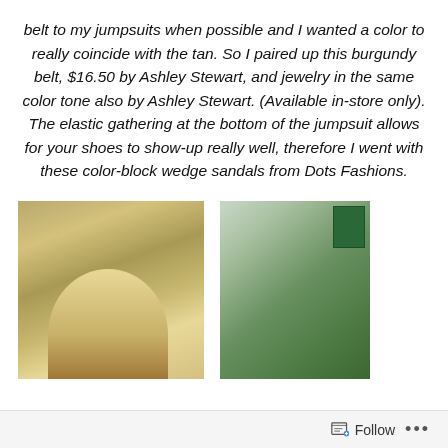belt to my jumpsuits when possible and I wanted a color to really coincide with the tan. So I paired up this burgundy belt, $16.50 by Ashley Stewart, and jewelry in the same color tone also by Ashley Stewart. (Available in-store only). The elastic gathering at the bottom of the jumpsuit allows for your shoes to show-up really well, therefore I went with these color-block wedge sandals from Dots Fashions.
[Figure (photo): Blonde woman wearing a tan/cream outfit standing in front of leafy golden background]
[Figure (photo): Dark-haired woman wearing sunglasses and a green top/jumpsuit, partial view with green sign in background]
Follow ...